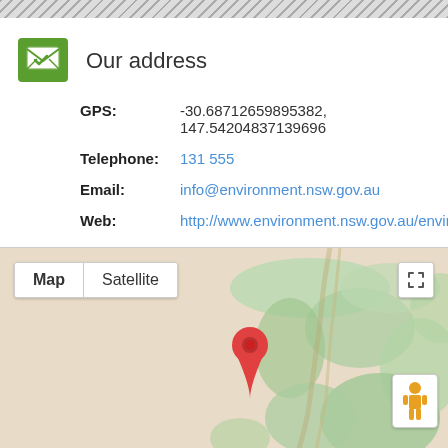Our address
GPS: -30.68712659895382, 147.54204837139696
Telephone: 131 555
Email: info@environment.nsw.gov.au
Web: http://www.environment.nsw.gov.au/environmentalwate
[Figure (map): Google Maps view showing a location pin near coordinates -30.687, 147.542, with Map/Satellite toggle buttons and a street view person icon. The map shows a terrain with green vegetation patches on a beige background with a road/river running vertically.]